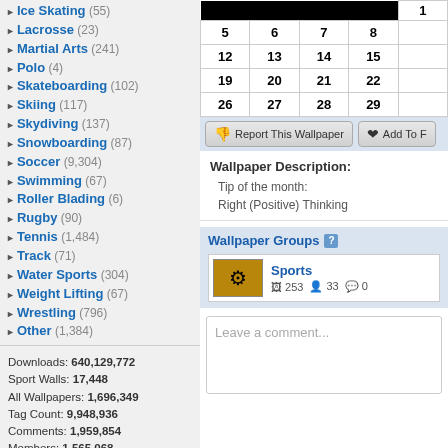Ice Skating (55)
Lacrosse (23)
Martial Arts (241)
Polo (4)
Skateboarding (102)
Skiing (117)
Skydiving (137)
Snowboarding (87)
Soccer (9,304)
Swimming (67)
Roller Blading (6)
Rugby (90)
Tennis (1,484)
Track (71)
Water Sports (304)
Weight Lifting (67)
Wrestling (796)
Other (1,384)
Downloads: 640,129,772
Sport Walls: 17,448
All Wallpapers: 1,696,349
Tag Count: 9,948,936
Comments: 1,959,854
Members: 1,565,068
Votes: 12,971,712
5,924 Users Online
103 members, 5,821 guests
AlvaradoSulwen, Anderlecht, artinconstruction, Astro
|  |  |  |  | 1 |
| --- | --- | --- | --- | --- |
| 5 | 6 | 7 | 8 |  |
| 12 | 13 | 14 | 15 |  |
| 19 | 20 | 21 | 22 |  |
| 26 | 27 | 28 | 29 |  |
Report This Wallpaper    Add To F
Wallpaper Description:
Tip of the month:
Right (Positive) Thinking
Wallpaper Groups
Sports
253  33  0
Leave a comment...